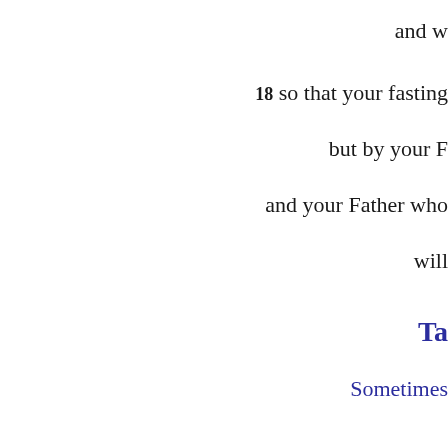and w
18 so that your fasting
but by your F
and your Father who
will
Ta
Sometimes
doing good
but they continu
a